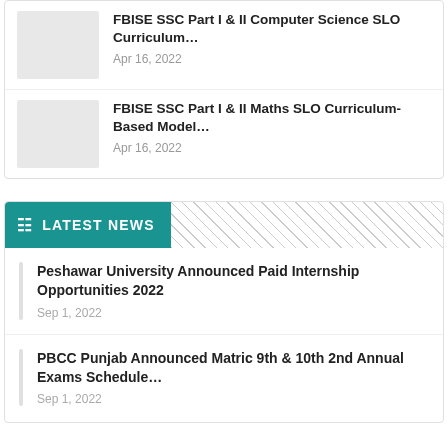FBISE SSC Part I & II Computer Science SLO Curriculum… — Apr 16, 2022
FBISE SSC Part I & II Maths SLO Curriculum-Based Model… — Apr 16, 2022
LATEST NEWS
Peshawar University Announced Paid Internship Opportunities 2022 — Sep 1, 2022
PBCC Punjab Announced Matric 9th & 10th 2nd Annual Exams Schedule… — Sep 1, 2022